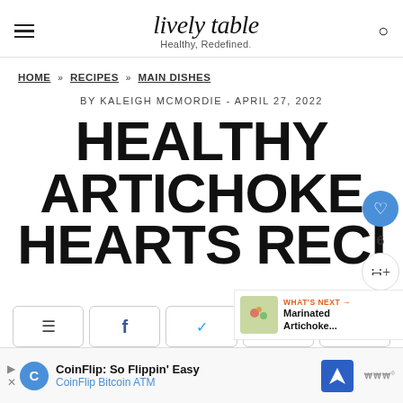lively table — Healthy, Redefined.
HOME » RECIPES » MAIN DISHES
BY KALEIGH MCMORDIE - APRIL 27, 2022
HEALTHY ARTICHOKE HEARTS RECI…
[Figure (other): What's Next panel showing Marinated Artichoke... with thumbnail]
[Figure (infographic): Social share bar with Pinterest, Facebook, Twitter, Yum, and email buttons]
[Figure (other): CoinFlip Bitcoin ATM advertisement banner at bottom]